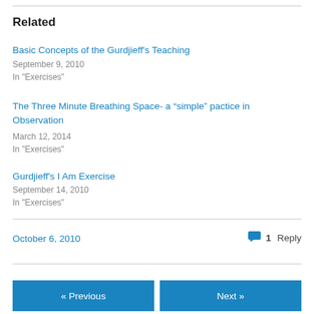Related
Basic Concepts of the Gurdjieff's Teaching
September 9, 2010
In "Exercises"
The Three Minute Breathing Space- a “simple” pactice in Observation
March 12, 2014
In "Exercises"
Gurdjieff's I Am Exercise
September 14, 2010
In "Exercises"
October 6, 2010
1 Reply
« Previous
Next »